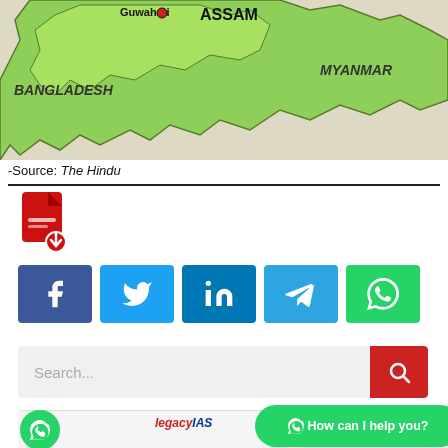[Figure (map): Map showing Northeast India region including Assam (with Guwahati marked), Bangladesh to the west, and Myanmar to the east. Green shaded areas represent the northeastern states.]
-Source: The Hindu
[Figure (other): PDF download icon (red Adobe PDF-style icon with download arrow)]
[Figure (other): Social sharing buttons row: Facebook, Twitter, LinkedIn, Telegram, WhatsApp]
[Figure (other): Search bar with red search button]
[Figure (other): Bottom bar with Legacy IAS logo and WhatsApp 'How can I help you?' chat bubble]